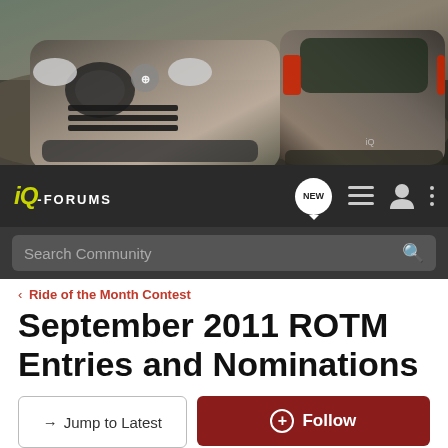[Figure (photo): Banner image showing two silver/gray Toyota iQ cars from front and rear angles against a rocky desert landscape background]
iQ-FORUMS navigation bar with logo, NEW badge, list icon, user icon, and menu icon
Search Community
< Ride of the Month Contest
September 2011 ROTM Entries and Nominations
→ Jump to Latest
+ Follow
Not open for further replies.